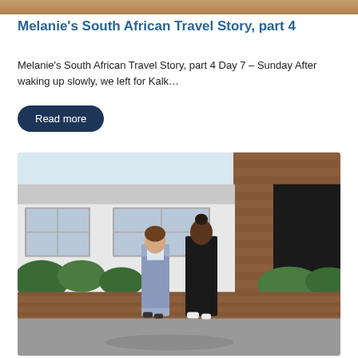[Figure (photo): Top strip of a photo partially visible, showing warm brown/orange tones]
Melanie’s South African Travel Story, part 4
Melanie’s South African Travel Story, part 4 Day 7 – Sunday After waking up slowly, we left for Kalk…
Read more
[Figure (photo): Two women standing in front of a brick bungalow house on a sunny day. One woman wears a floral dress, the other wears a black outfit. There are gardens and shrubs visible.]